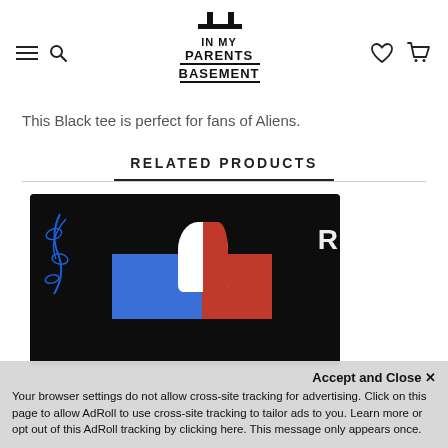In My Parents Basement — navigation header with logo, hamburger menu, search, wishlist, and cart icons
This Black tee is perfect for fans of Aliens.
RELATED PRODUCTS
[Figure (photo): Black anime graphic sweatshirt/sweater with blue and red color blocks and white-haired anime character (Todoroki), with blue vine/leaf pattern on sleeve and large 'R' text on right sleeve]
Accept and Close ✕
Your browser settings do not allow cross-site tracking for advertising. Click on this page to allow AdRoll to use cross-site tracking to tailor ads to you. Learn more or opt out of this AdRoll tracking by clicking here. This message only appears once.